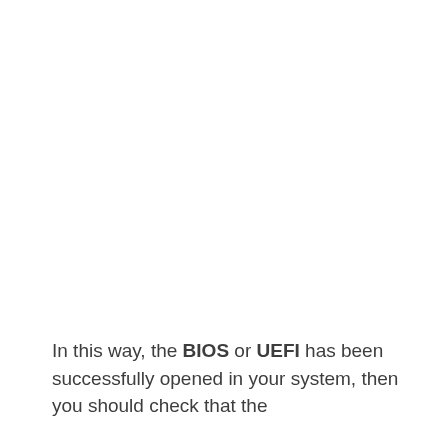In this way, the BIOS or UEFI has been successfully opened in your system, then you should check that the